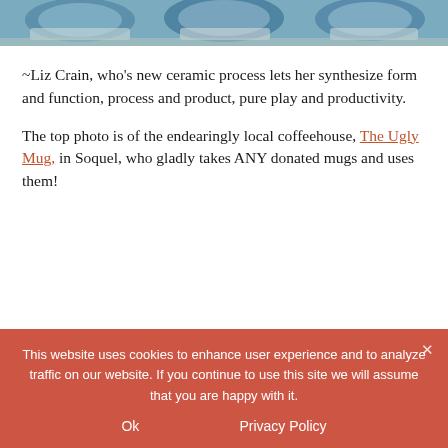[Figure (photo): Close-up photo of ceramic mugs with blue glaze and decorative patterns on a surface, cropped at top of page]
~Liz Crain, who’s new ceramic process lets her synthesize form and function, process and product, pure play and productivity.
The top photo is of the endearingly local coffeehouse, The Ugly Mug, in Soquel, who gladly takes ANY donated mugs and uses them!
This website uses cookies to enhance user experience and to analyze traffic on our website. If you continue to use this site we will assume that you are happy with it.
Ok    Privacy Policy